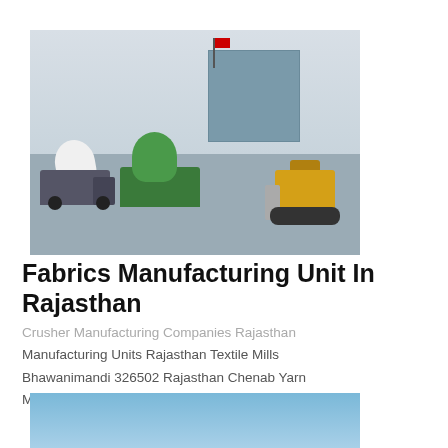[Figure (photo): Construction site photograph showing multiple cement mixer trucks (white and green) and a yellow bulldozer, with a building and red flag in the background under an overcast sky.]
Fabrics Manufacturing Unit In Rajasthan
Crusher Manufacturing Companies Rajasthan Manufacturing Units Rajasthan Textile Mills Bhawanimandi 326502 Rajasthan Chenab Yarn Manufacturers in India
[Figure (photo): Partial photo showing a blue sky with light clouds, appearing at the bottom of the page (cropped).]